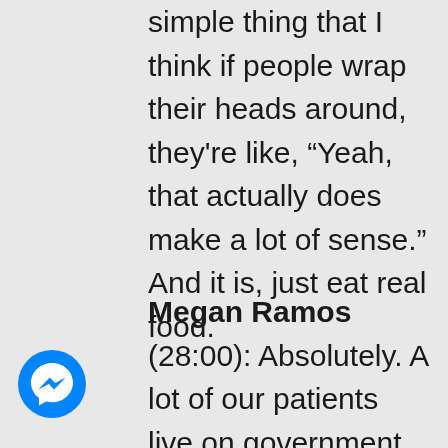simple thing that I think if people wrap their heads around, they're like, “Yeah, that actually does make a lot of sense.” And it is, just eat real food.
Megan Ramos (28:00): Absolutely. A lot of our patients live on government assistance. They're in bad